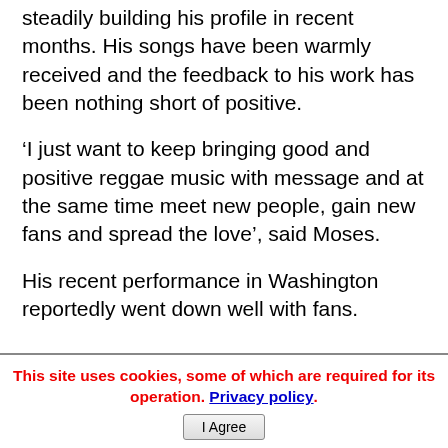steadily building his profile in recent months. His songs have been warmly received and the feedback to his work has been nothing short of positive.
‘I just want to keep bringing good and positive reggae music with message and at the same time meet new people, gain new fans and spread the love’, said Moses.
His recent performance in Washington reportedly went down well with fans.
This site uses cookies, some of which are required for its operation. Privacy policy. I Agree